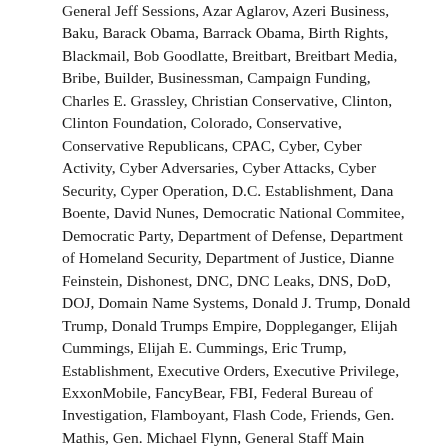General Jeff Sessions, Azar Aglarov, Azeri Business, Baku, Barack Obama, Barrack Obama, Birth Rights, Blackmail, Bob Goodlatte, Breitbart, Breitbart Media, Bribe, Builder, Businessman, Campaign Funding, Charles E. Grassley, Christian Conservative, Clinton, Clinton Foundation, Colorado, Conservative, Conservative Republicans, CPAC, Cyber, Cyber Activity, Cyber Adversaries, Cyber Attacks, Cyber Security, Cyper Operation, D.C. Establishment, Dana Boente, David Nunes, Democratic National Commitee, Democratic Party, Department of Defense, Department of Homeland Security, Department of Justice, Dianne Feinstein, Dishonest, DNC, DNC Leaks, DNS, DoD, DOJ, Domain Name Systems, Donald J. Trump, Donald Trump, Donald Trumps Empire, Doppleganger, Elijah Cummings, Elijah E. Cummings, Eric Trump, Establishment, Executive Orders, Executive Privilege, ExxonMobile, FancyBear, FBI, Federal Bureau of Investigation, Flamboyant, Flash Code, Friends, Gen. Mathis, Gen. Michael Flynn, General Staff Main Intelligence Directorate, Good Old Party, GOP, GoUSA, Government of United States of America, Grand Old